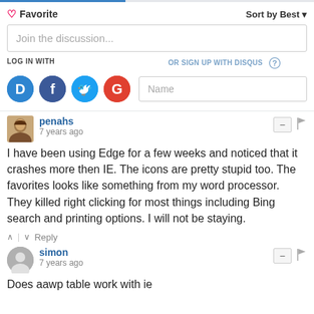Favorite | Sort by Best
Join the discussion...
LOG IN WITH
OR SIGN UP WITH DISQUS
Name
penahs
7 years ago
I have been using Edge for a few weeks and noticed that it crashes more then IE. The icons are pretty stupid too. The favorites looks like something from my word processor. They killed right clicking for most things including Bing search and printing options. I will not be staying.
Reply
simon
7 years ago
Does aawp table work with ie